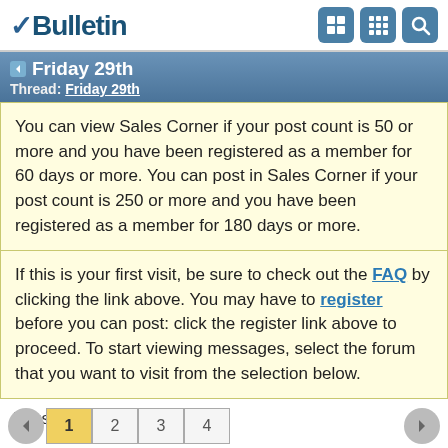vBulletin
Friday 29th
Thread: Friday 29th
You can view Sales Corner if your post count is 50 or more and you have been registered as a member for 60 days or more. You can post in Sales Corner if your post count is 250 or more and you have been registered as a member for 180 days or more.
If this is your first visit, be sure to check out the FAQ by clicking the link above. You may have to register before you can post: click the register link above to proceed. To start viewing messages, select the forum that you want to visit from the selection below.
Tags:
1  2  3  4